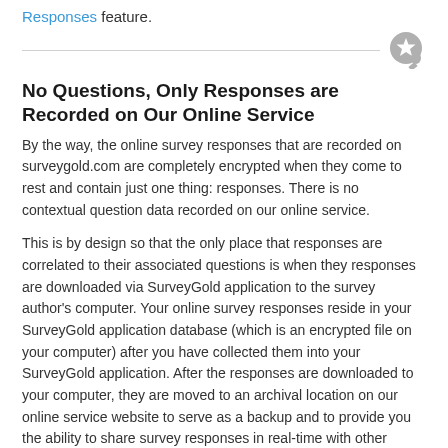Responses feature.
No Questions, Only Responses are Recorded on Our Online Service
By the way, the online survey responses that are recorded on surveygold.com are completely encrypted when they come to rest and contain just one thing: responses. There is no contextual question data recorded on our online service.
This is by design so that the only place that responses are correlated to their associated questions is when they responses are downloaded via SurveyGold application to the survey author's computer. Your online survey responses reside in your SurveyGold application database (which is an encrypted file on your computer) after you have collected them into your SurveyGold application. After the responses are downloaded to your computer, they are moved to an archival location on our online service website to serve as a backup and to provide you the ability to share survey responses in real-time with other SurveyGold users via the Shared Responses feature.